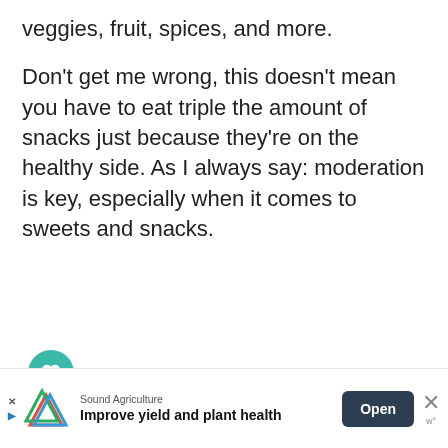veggies, fruit, spices, and more.

Don't get me wrong, this doesn't mean you have to eat triple the amount of snacks just because they're on the healthy side. As I always say: moderation is key, especially when it comes to sweets and snacks.
[Figure (photo): Light gray placeholder image box with three pagination dots at the bottom center, and a heart (like) button and share button overlaid on the left side.]
Sound Agriculture
Improve yield and plant health